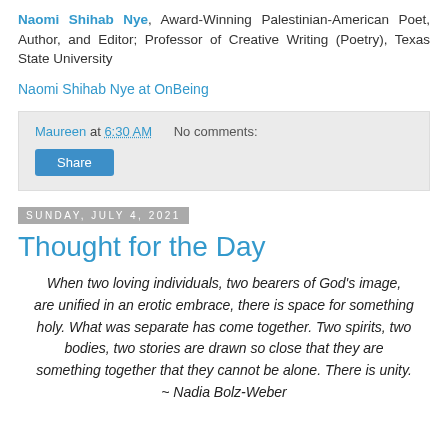Naomi Shihab Nye, Award-Winning Palestinian-American Poet, Author, and Editor; Professor of Creative Writing (Poetry), Texas State University
Naomi Shihab Nye at OnBeing
Maureen at 6:30 AM   No comments:
Share
Sunday, July 4, 2021
Thought for the Day
When two loving individuals, two bearers of God's image, are unified in an erotic embrace, there is space for something holy. What was separate has come together. Two spirits, two bodies, two stories are drawn so close that they are something together that they cannot be alone. There is unity. ~ Nadia Bolz-Weber